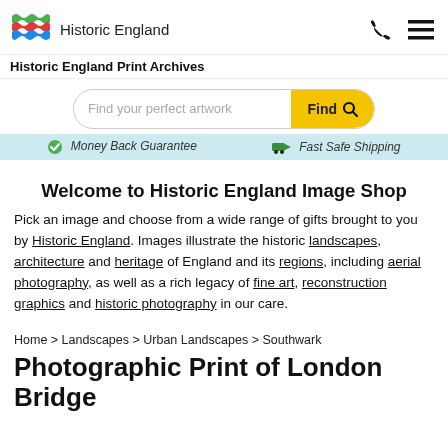[Figure (logo): Historic England logo with colorful wave pattern and text]
Historic England Print Archives
[Figure (screenshot): Search bar with placeholder 'Find your perfect artwork' and yellow Find button with magnifying glass icon]
Money Back Guarantee   Fast Safe Shipping
Welcome to Historic England Image Shop
Pick an image and choose from a wide range of gifts brought to you by Historic England. Images illustrate the historic landscapes, architecture and heritage of England and its regions, including aerial photography, as well as a rich legacy of fine art, reconstruction graphics and historic photography in our care.
Home > Landscapes > Urban Landscapes > Southwark
Photographic Print of London Bridge